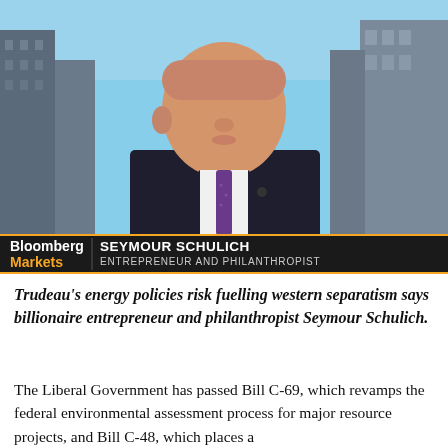[Figure (photo): Bloomberg Markets TV screenshot showing Seymour Schulich, an elderly man in a dark suit with purple tie, seated in a TV studio with city skyline in the background. A lower-third graphic reads: Bloomberg Markets | SEYMOUR SCHULICH | ENTREPRENEUR AND PHILANTHROPIST]
Trudeau's energy policies risk fuelling western separatism says billionaire entrepreneur and philanthropist Seymour Schulich.
The Liberal Government has passed Bill C-69, which revamps the federal environmental assessment process for major resource projects, and Bill C-48, which places a